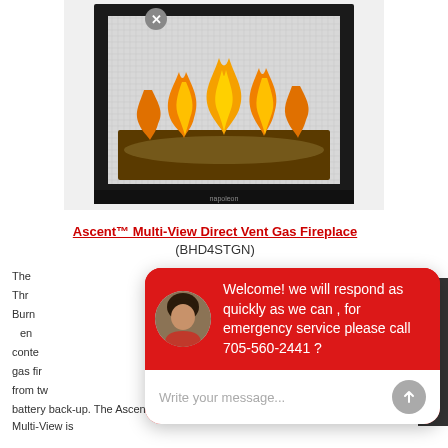[Figure (photo): Black framed gas fireplace (Ascent Multi-View) with orange flames and glass media, viewed from the front]
Ascent™ Multi-View Direct Vent Gas Fireplace (BHD4STGN)
The... Thr... Burn... en... conte... gas fir... from tw... battery back-up. The Ascent™ Multi-View is
[Figure (screenshot): Red chat widget overlay with avatar, message: Welcome! we will respond as quickly as we can , for emergency service please call 705-560-2441 ?, and a text input area saying Write your message...]